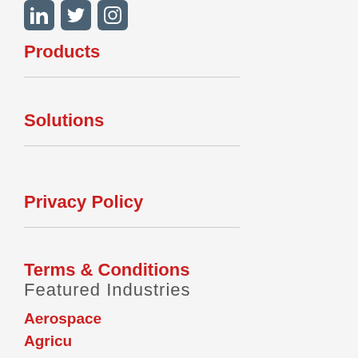[Figure (other): Social media icon buttons: LinkedIn, Twitter, Instagram]
Products
Solutions
Privacy Policy
Terms & Conditions
Featured Industries
Aerospace
Agriculture